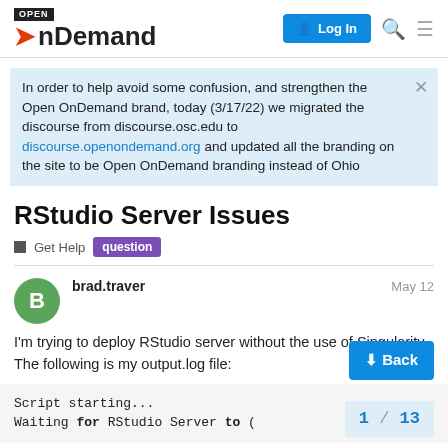Open OnDemand | Log In
In order to help avoid some confusion, and strengthen the Open OnDemand brand, today (3/17/22) we migrated the discourse from discourse.osc.edu to discourse.openondemand.org and updated all the branding on the site to be Open OnDemand branding instead of Ohio
RStudio Server Issues
Get Help  question
brad.traver  May 12
I'm trying to deploy RStudio server without the use of Singularity. The following is my output.log file:
Script starting...
Waiting for RStudio Server to (
1 / 13